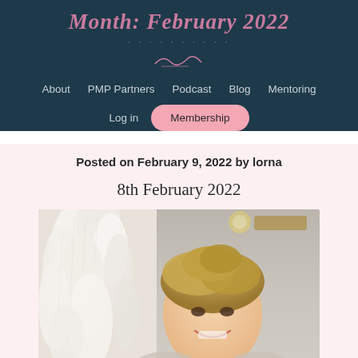Month: February 2022
About  PMP Partners  Podcast  Blog  Mentoring
Log in  Membership
Posted on February 9, 2022 by lorna
8th February 2022
[Figure (photo): A smiling young woman with blonde upswept hair in a room with white feather decorations on the left and a lit mirror/light fixture in the background on the right.]